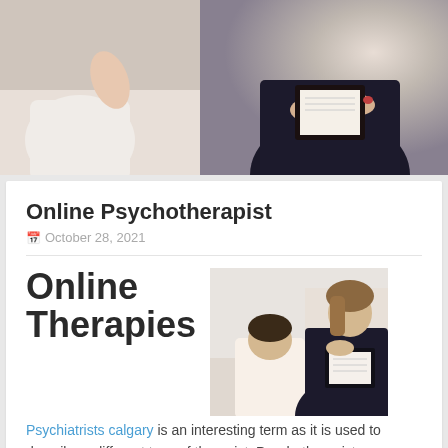[Figure (photo): Therapy session photo showing two people, one in white on the left and a therapist in dark clothing with a clipboard on the right]
Online Psychotherapist
October 28, 2021
[Figure (photo): Therapy session photo showing a male patient with bowed head and a female therapist in dark jacket with clipboard]
Online Therapies
Psychiatrists calgary is an interesting term as it is used to describe a different type of therapist. Psychotherapists are registered mental health professionals who focus on the psychotherapy of patients with psychiatric conditions. Their main concern is to identify the patient's problem and find the ways to